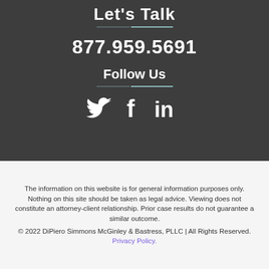Let's Talk
877.959.5691
Follow Us
[Figure (illustration): Social media icons: Twitter bird, Facebook f, LinkedIn in]
The information on this website is for general information purposes only. Nothing on this site should be taken as legal advice. Viewing does not constitute an attorney-client relationship. Prior case results do not guarantee a similar outcome.
© 2022 DiPiero Simmons McGinley & Bastress, PLLC | All Rights Reserved. Privacy Policy.